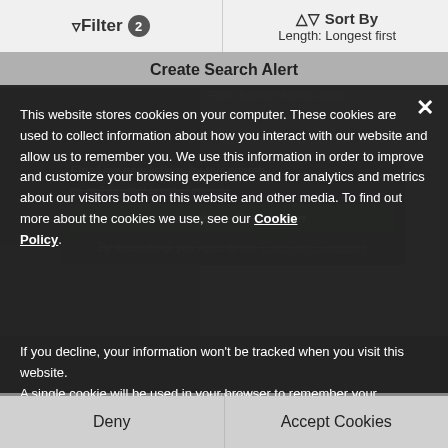Filter 2 | Sort By Length: Longest first
Create Search Alert
This website stores cookies on your computer. These cookies are used to collect information about how you interact with our website and allow us to remember you. We use this information in order to improve and customize your browsing experience and for analytics and metrics about our visitors both on this website and other media. To find out more about the cookies we use, see our Cookie Policy.
If you decline, your information won't be tracked when you visit this website. A single cookie will be used in your browser to remember your preference not to be tracked.
Deny
Accept Cookies